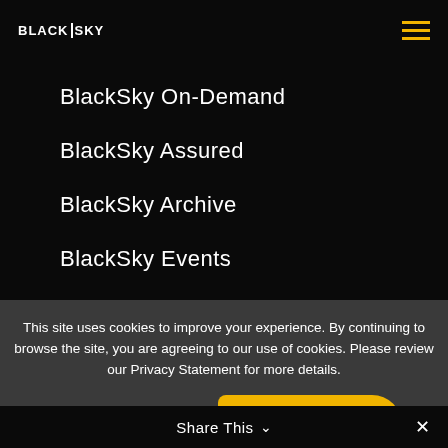BLACKSKY
BlackSky On-Demand
BlackSky Assured
BlackSky Archive
BlackSky Events
AI Accelerator
This site uses cookies to improve your experience. By continuing to browse the site, you are agreeing to our use of cookies. Please review our Privacy Statement for more details.
OK
Cookies Policy
PRIVACY STATEMENT
Share This